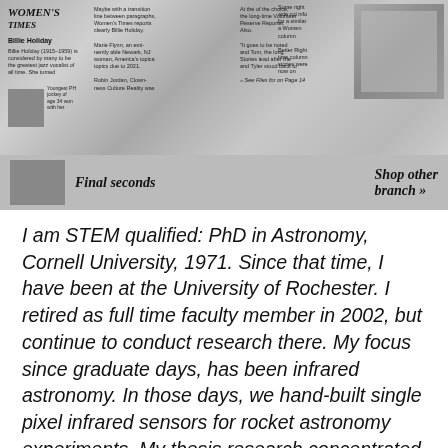[Figure (photo): Newspaper clipping image showing multiple columns of text with headlines including 'Billie Holiday', 'Final seconds', and 'Shop other branch' along with photographs embedded in the newspaper layout.]
I am STEM qualified: PhD in Astronomy, Cornell University, 1971. Since that time, I have been at the University of Rochester. I retired as full time faculty member in 2002, but continue to conduct research there. My focus since graduate days, has been infrared astronomy. In those days, we hand-built single pixel infrared sensors for rocket astronomy experiments. My thesis research concentrated on dust emission from the galactic plane, and from massive star formation regions. Once I arrived at the University of Rochester, I began an infrared group. Although I had not yet obtained funding, my Cornell advisor gifted me with a dewar (which holds